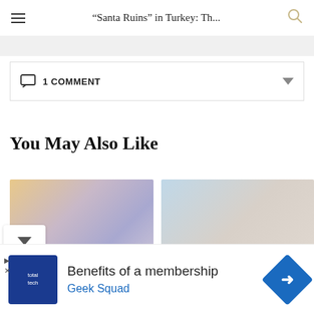“Santa Ruins” in Turkey: Th...
1 COMMENT
You May Also Like
[Figure (photo): Blurred thumbnail image 1 with warm orange and purple tones]
[Figure (photo): Blurred thumbnail image 2 with light blue and beige tones]
[Figure (screenshot): Advertisement: Benefits of a membership - Geek Squad, with Total Tech logo and blue diamond arrow icon]